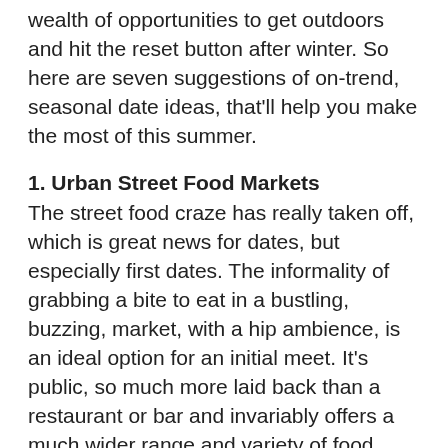wealth of opportunities to get outdoors and hit the reset button after winter. So here are seven suggestions of on-trend, seasonal date ideas, that'll help you make the most of this summer.
1. Urban Street Food Markets
The street food craze has really taken off, which is great news for dates, but especially first dates. The informality of grabbing a bite to eat in a bustling, buzzing, market, with a hip ambience, is an ideal option for an initial meet. It's public, so much more laid back than a restaurant or bar and invariably offers a much wider range and variety of food (which takes away a problem if you find you don't like the same sort of cuisine when you get there). Usually open from lunchtime to late, some also have live music and most have a great vibe.